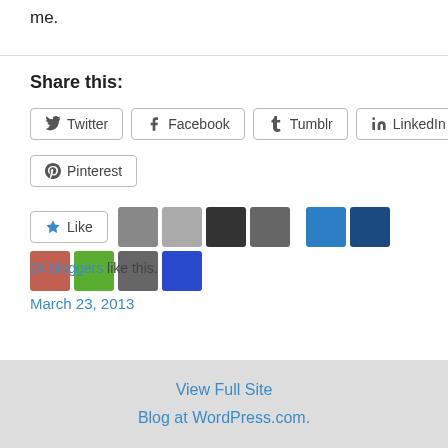me.
Share this:
[Figure (screenshot): Social share buttons: Twitter, Facebook, Tumblr, LinkedIn, Pinterest]
[Figure (screenshot): Like button with 24 blogger avatars shown]
24 bloggers like this.
March 23, 2013
View Full Site
Blog at WordPress.com.